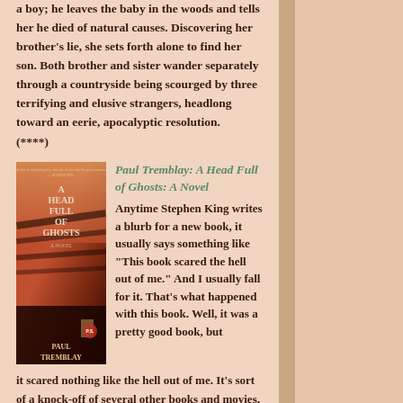a boy; he leaves the baby in the woods and tells her he died of natural causes. Discovering her brother's lie, she sets forth alone to find her son. Both brother and sister wander separately through a countryside being scourged by three terrifying and elusive strangers, headlong toward an eerie, apocalyptic resolution. (****)
Paul Tremblay: A Head Full of Ghosts: A Novel
[Figure (illustration): Book cover of 'A Head Full of Ghosts' by Paul Tremblay. Cover shows a dark staircase or hallway with reddish-orange tones. Title text on cover reads: A HEAD FULL OF GHOSTS A NOVEL PAUL TREMBLAY.]
Anytime Stephen King writes a blurb for a new book, it usually says something like "This book scared the hell out of me." And I usually fall for it. That's what happened with this book. Well, it was a pretty good book, but it scared nothing like the hell out of me. It's sort of a knock-off of several other books and movies, including The Exorcist, Amityville Horror, and a bunch